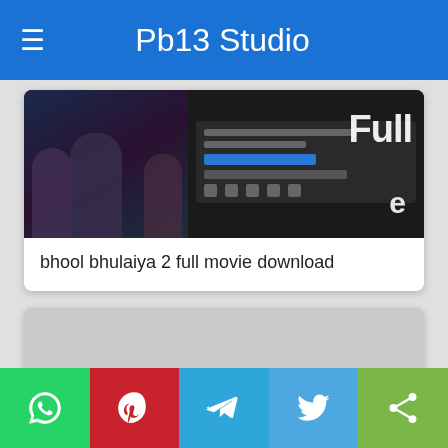Pb13 Studio
[Figure (screenshot): Thumbnail image for 'bhool bhulaiya 2 full movie download' showing movie characters silhouette and a phone UI mockup with the word Full visible]
bhool bhulaiya 2 full movie download
[Figure (screenshot): Gray placeholder card with a blurred YouTube-style play button icon (rounded rectangle with three dots)]
WhatsApp | Pinterest | Telegram | Twitter | Share